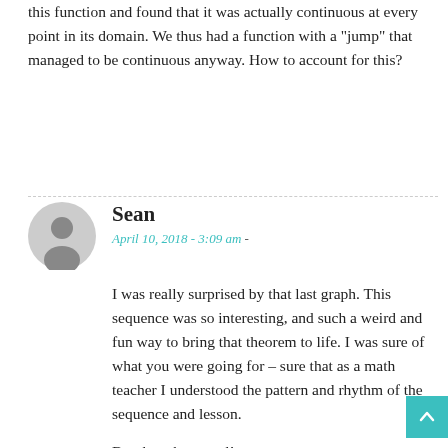this function and found that it was actually continuous at every point in its domain. We thus had a function with a "jump" that managed to be continuous anyway. How to account for this?
Sean
April 10, 2018 - 3:09 am -
I was really surprised by that last graph. This sequence was so interesting, and such a weird and fun way to bring that theorem to life. I was sure of what you were going for – sure that as a math teacher I understood the pattern and rhythm of the sequence and lesson.
But then the reveal!
You preyed on my overconfidence. I can imagine this working very very very very